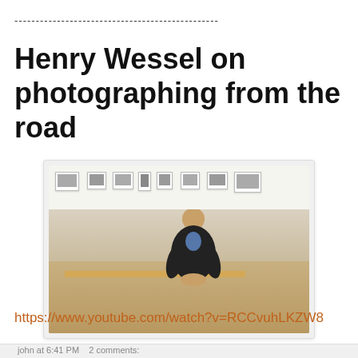------------------------------------------------
Henry Wessel on photographing from the road
[Figure (photo): Man sitting on a wooden bench in an art gallery with framed black-and-white photographs on the white wall behind him.]
https://www.youtube.com/watch?v=RCCvuhLKZW8
john at 6:41 PM   2 comments: